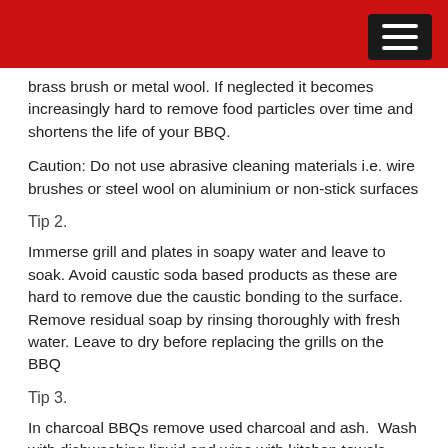brass brush or metal wool. If neglected it becomes increasingly hard to remove food particles over time and shortens the life of your BBQ.
Caution: Do not use abrasive cleaning materials i.e. wire brushes or steel wool on aluminium or non-stick surfaces
Tip 2.
Immerse grill and plates in soapy water and leave to soak. Avoid caustic soda based products as these are hard to remove due the caustic bonding to the surface.  Remove residual soap by rinsing thoroughly with fresh water. Leave to dry before replacing the grills on the BBQ
Tip 3.
In charcoal BBQs remove used charcoal and ash.  Wash with dishwashing liquid and wipe with kitchen towels.  Give a second wash and wipe with clean cotton cloth